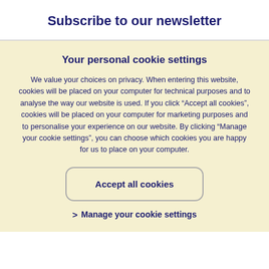Subscribe to our newsletter
Your personal cookie settings
We value your choices on privacy. When entering this website, cookies will be placed on your computer for technical purposes and to analyse the way our website is used. If you click “Accept all cookies”, cookies will be placed on your computer for marketing purposes and to personalise your experience on our website. By clicking “Manage your cookie settings”, you can choose which cookies you are happy for us to place on your computer.
Accept all cookies
> Manage your cookie settings